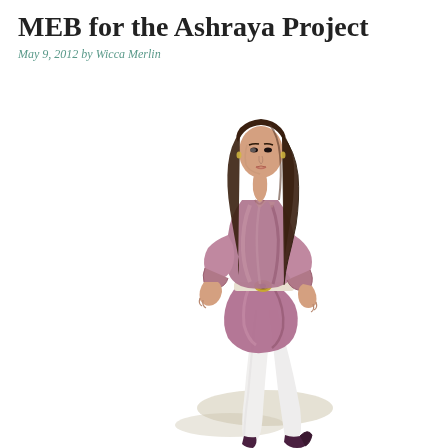MEB for the Ashraya Project
May 9, 2012 by Wicca Merlin
[Figure (illustration): A 3D rendered female avatar in a virtual world (Second Life style), wearing a shiny mauve/purple short blouse with rolled-up sleeves, a gold belt, white fitted pants, and dark high heels. She has long dark brown hair, and is posed standing with a slight twist. A shadow is cast beneath her on a white floor.]